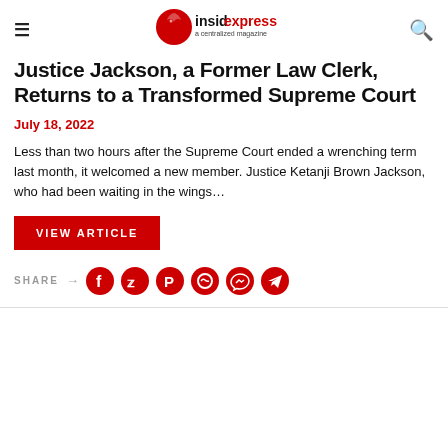insidexpress — a centralized magazine
Justice Jackson, a Former Law Clerk, Returns to a Transformed Supreme Court
July 18, 2022
Less than two hours after the Supreme Court ended a wrenching term last month, it welcomed a new member. Justice Ketanji Brown Jackson, who had been waiting in the wings…
VIEW ARTICLE
SHARE